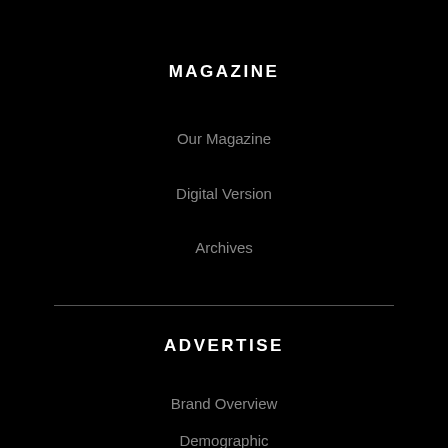MAGAZINE
Our Magazine
Digital Version
Archives
ADVERTISE
Brand Overview
Demographic